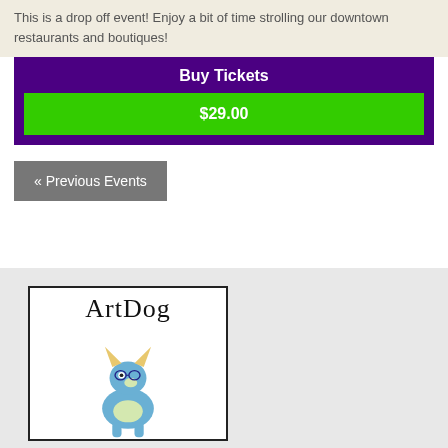This is a drop off event! Enjoy a bit of time strolling our downtown restaurants and boutiques!
Buy Tickets
$29.00
« Previous Events
[Figure (logo): ArtDog logo with text 'ArtDog' and illustration of a blue dog sitting]